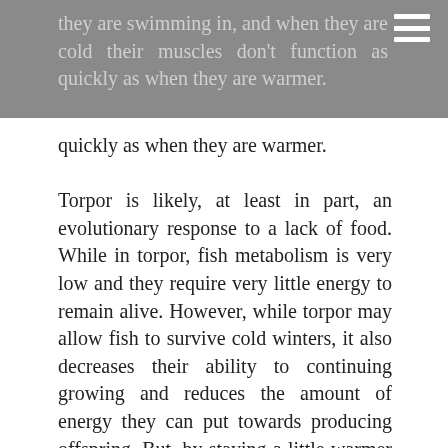they are swimming in, and when they are cold their muscles don't function as quickly as when they are warmer.
quickly as when they are warmer.

Torpor is likely, at least in part, an evolutionary response to a lack of food. While in torpor, fish metabolism is very low and they require very little energy to remain alive. However, while torpor may allow fish to survive cold winters, it also decreases their ability to continuing growing and reduces the amount of energy they can put towards producing offspring. But, by staying a little warmer during winter, fish occupying mainstem rivers will spend less time in torpor, more time feeding